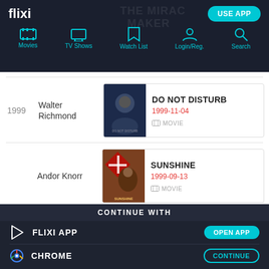flixi - USE APP - Movies, TV Shows, Watch List, Login/Reg., Search
1999  Walter Richmond  DO NOT DISTURB  1999-11-04  MOVIE
Andor Knorr  SUNSHINE  1999-09-13  MOVIE
CONTINUE WITH
FLIXI APP  OPEN APP
CHROME  CONTINUE